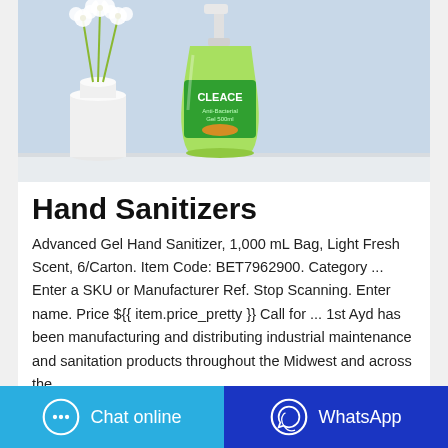[Figure (photo): A green pump bottle of Cleace hand sanitizer on a white shelf with white flowers in a vase in the background, against a light blue background.]
Hand Sanitizers
Advanced Gel Hand Sanitizer, 1,000 mL Bag, Light Fresh Scent, 6/Carton. Item Code: BET7962900. Category ... Enter a SKU or Manufacturer Ref. Stop Scanning. Enter name. Price ${{ item.price_pretty }} Call for ... 1st Ayd has been manufacturing and distributing industrial maintenance and sanitation products throughout the Midwest and across the ...